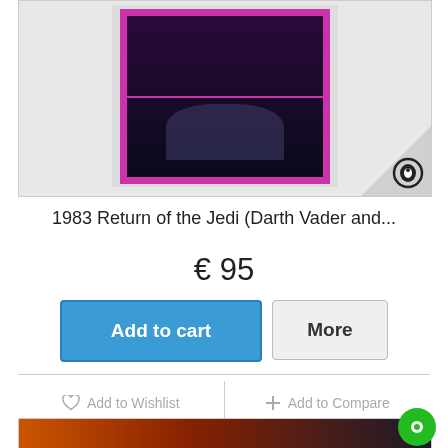[Figure (photo): Product image of a 1983 Return of the Jedi poster featuring Darth Vader, shown in a framed product card with a small circular eye icon in the lower-right corner.]
1983 Return of the Jedi (Darth Vader and...
€ 95
Add to cart | More
♡ Add to Wishlist   + Add to Compare
[Figure (photo): Second product image showing a Star Wars movie poster with characters including Anakin Skywalker holding a lightsaber, partially visible at the bottom of the page.]